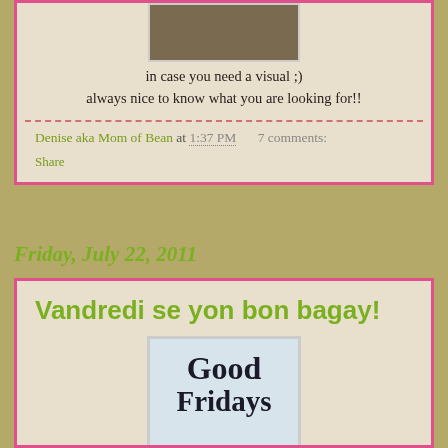[Figure (photo): Product image at top of blog post]
in case you need a visual ;)
always nice to know what you are looking for!!
Denise aka Mom of Bean at 1:37 PM   7 comments:
Share
Friday, July 22, 2011
Vandredi se yon bon bagay!
[Figure (photo): Good Fridays @Diapeepees image]